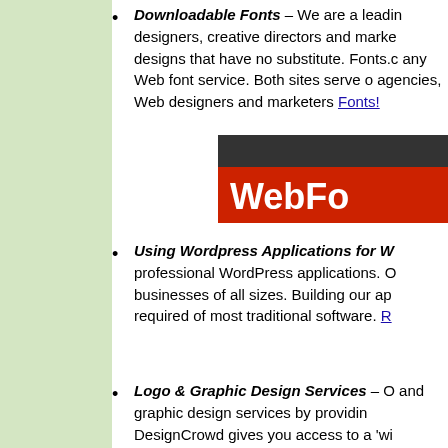Downloadable Fonts – We are a leading... designers, creative directors and marke... designs that have no substitute. Fonts.c... any Web font service. Both sites serve... agencies, Web designers and marketers... Fonts!
[Figure (logo): Web Fonts logo image with dark header bar and red background showing 'WebFo' text in white]
Using Wordpress Applications for W... professional WordPress applications. C... businesses of all sizes. Building our ap... required of most traditional software. R...
Logo & Graphic Design Services – C... and graphic design services by providin... DesignCrowd gives you access to a 'wi...